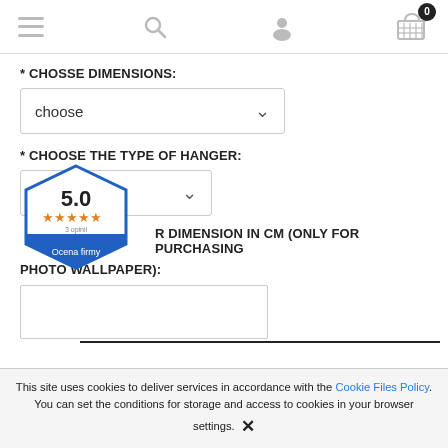Navigation bar with menu, search, user, and cart icons
* CHOSSE DIMENSIONS:
choose (dropdown)
* CHOOSE THE TYPE OF HANGER:
ch... (dropdown)
[Figure (infographic): Rating badge showing 5.0 score with 5 orange stars, 3 opinions, and 'Ocena firmy' label on blue hexagon badge]
* ENTER YOUR DIMENSION IN CM (ONLY FOR PURCHASING PHOTO WALLPAPER):
Text input field
This site uses cookies to deliver services in accordance with the Cookie Files Policy. You can set the conditions for storage and access to cookies in your browser settings. ✕